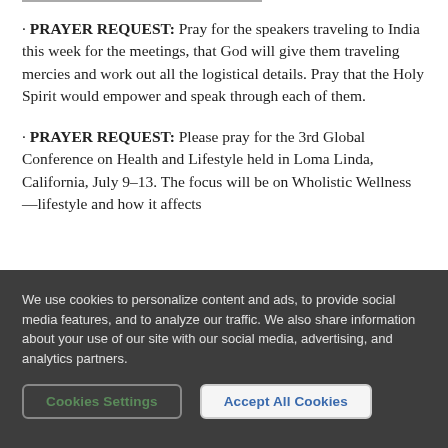· PRAYER REQUEST: Pray for the speakers traveling to India this week for the meetings, that God will give them traveling mercies and work out all the logistical details. Pray that the Holy Spirit would empower and speak through each of them.
· PRAYER REQUEST: Please pray for the 3rd Global Conference on Health and Lifestyle held in Loma Linda, California, July 9–13. The focus will be on Wholistic Wellness—lifestyle and how it affects
We use cookies to personalize content and ads, to provide social media features, and to analyze our traffic. We also share information about your use of our site with our social media, advertising, and analytics partners.
Cookies Settings | Accept All Cookies